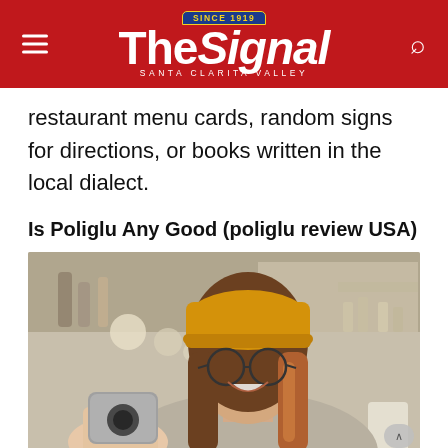The Signal — Santa Clarita Valley
restaurant menu cards, random signs for directions, or books written in the local dialect.
Is Poliglu Any Good (poliglu review USA)
[Figure (photo): A smiling young woman with glasses and a yellow/mustard beanie hat, looking down at a small gray electronic device (translator device) being held up by a hand in the foreground. Background shows a blurred café or restaurant setting.]